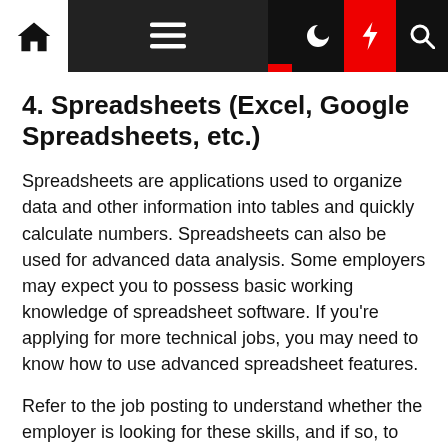Navigation bar with home, menu, moon, lightning, and search icons
4. Spreadsheets (Excel, Google Spreadsheets, etc.)
Spreadsheets are applications used to organize data and other information into tables and quickly calculate numbers. Spreadsheets can also be used for advanced data analysis. Some employers may expect you to possess basic working knowledge of spreadsheet software. If you're applying for more technical jobs, you may need to know how to use advanced spreadsheet features.
Refer to the job posting to understand whether the employer is looking for these skills, and if so, to what level they require you to manipulate data in spreadsheets. If it seems your skills are not advanced enough, spend some time practicing